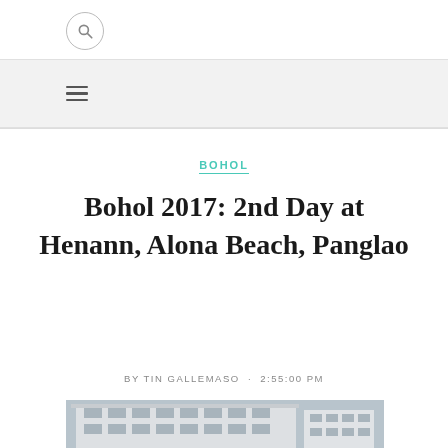BOHOL
Bohol 2017: 2nd Day at Henann, Alona Beach, Panglao
BY TIN GALLEMASO · 2:55:00 PM
[Figure (photo): Photo of Henann resort building with white multi-story facade and palm trees visible at the bottom of the image]